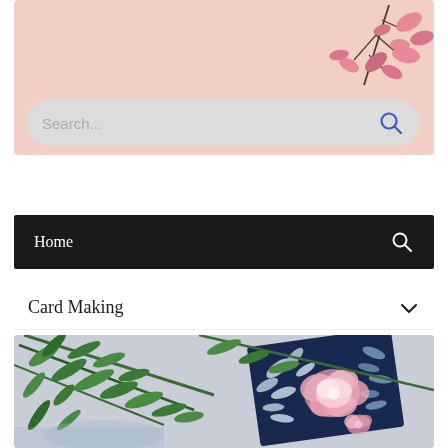[Figure (illustration): Pink banner with floral branch illustration (pink leaves on dark stems) in the upper right corner]
[Figure (screenshot): Search bar with placeholder text 'Search...' and a blue search icon on the right, on light grey rounded pill background]
Home
Card Making
[Figure (photo): Photograph of a greeting card with pink peony flower and white leaf silhouettes on dark navy background, surrounded by green fern/plant stems on a light blue-grey surface]